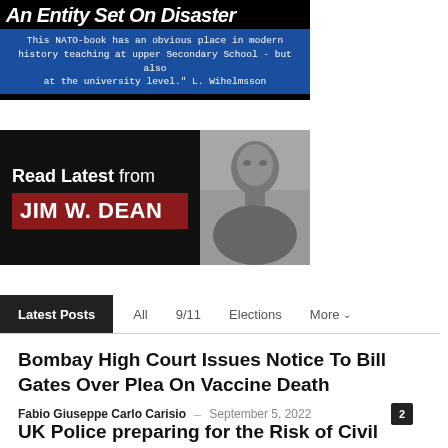[Figure (illustration): Book banner with title 'An Entity Set On Disaster' on black background, with blue band below containing a quote: 'This NATO-book has an obvious place in modern history teaching at upper Secondary School - but also at the university level.' L. Wihelmsson]
[Figure (illustration): Promotional banner: 'Read Latest from JIM W. DEAN' on dark background with red name box, alongside a grayscale photo of a man]
Latest Posts   All   9/11   Elections   More
Bombay High Court Issues Notice To Bill Gates Over Plea On Vaccine Death
Fabio Giuseppe Carlo Carisio – September 5, 2022  [2]
UK Police preparing for the Risk of Civil Unrest this